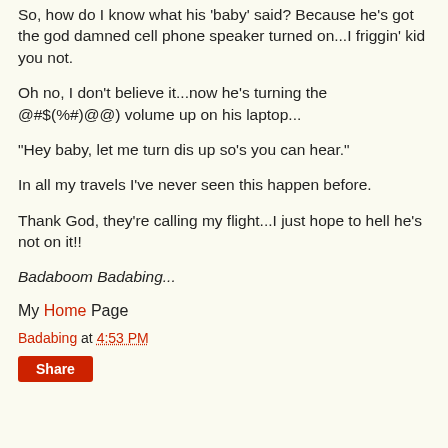So, how do I know what his 'baby' said? Because he's got the god damned cell phone speaker turned on...I friggin' kid you not.
Oh no, I don't believe it...now he's turning the @#$(%#)@@) volume up on his laptop...
"Hey baby, let me turn dis up so's you can hear."
In all my travels I've never seen this happen before.
Thank God, they're calling my flight...I just hope to hell he's not on it!!
Badaboom Badabing...
My Home Page
Badabing at 4:53 PM
Share